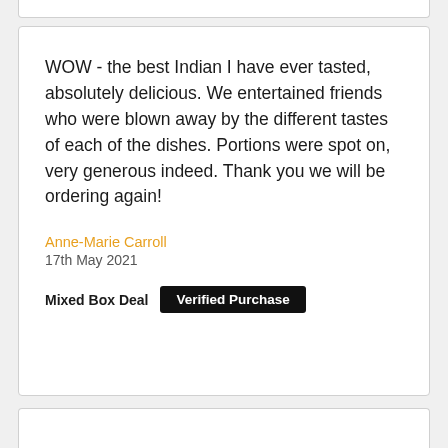WOW - the best Indian I have ever tasted, absolutely delicious. We entertained friends who were blown away by the different tastes of each of the dishes. Portions were spot on, very generous indeed. Thank you we will be ordering again!
Anne-Marie Carroll
17th May 2021
Mixed Box Deal   Verified Purchase